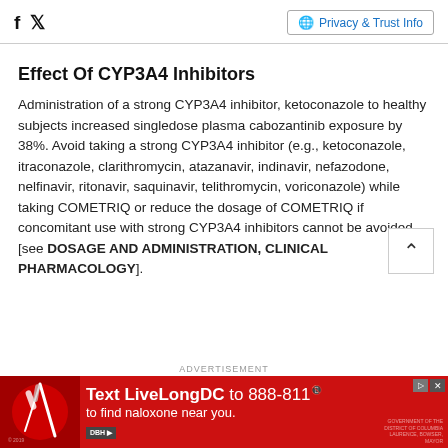f  🐦   Privacy & Trust Info
Effect Of CYP3A4 Inhibitors
Administration of a strong CYP3A4 inhibitor, ketoconazole to healthy subjects increased singledose plasma cabozantinib exposure by 38%. Avoid taking a strong CYP3A4 inhibitor (e.g., ketoconazole, itraconazole, clarithromycin, atazanavir, indinavir, nefazodone, nelfinavir, ritonavir, saquinavir, telithromycin, voriconazole) while taking COMETRIQ or reduce the dosage of COMETRIQ if concomitant use with strong CYP3A4 inhibitors cannot be avoided [see DOSAGE AND ADMINISTRATION, CLINICAL PHARMACOLOGY].
[Figure (infographic): Advertisement banner: red background with text 'Text LiveLongDC to 888-811 to find naloxone near you.' with DBH logo and government disclaimer.]